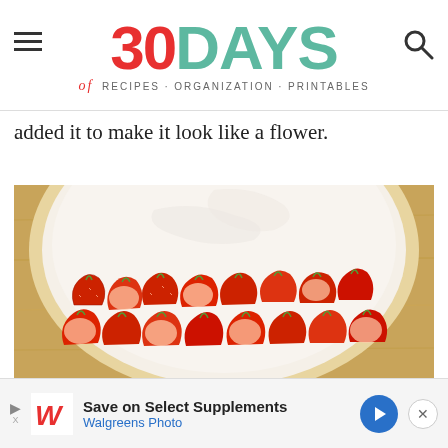30 DAYS of RECIPES · ORGANIZATION · PRINTABLES
added it to make it look like a flower.
[Figure (photo): A round flatbread or pizza base spread with white cream cheese or whipped cream, topped with rows of sliced fresh strawberries and a border of blueberries at the bottom, on a wooden cutting board.]
Save on Select Supplements Walgreens Photo